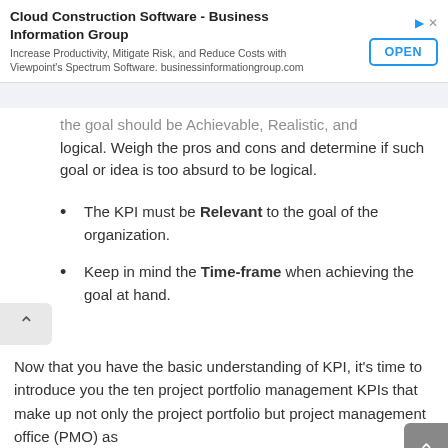[Figure (other): Advertisement banner for Cloud Construction Software - Business Information Group with OPEN button]
The goal should be Achievable, Realistic, and logical. Weigh the pros and cons and determine if such goal or idea is too absurd to be logical.
The KPI must be Relevant to the goal of the organization.
Keep in mind the Time-frame when achieving the goal at hand.
Now that you have the basic understanding of KPI, it's time to introduce you the ten project portfolio management KPIs that make up not only the project portfolio but project management office (PMO) as